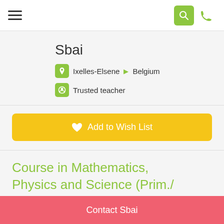≡  [search icon]  [phone icon]
Sbai
Ixelles-Elsene ▶ Belgium
Trusted teacher
♥ Add to Wish List
Course in Mathematics, Physics and Science (Prim./Sec.)
15 USD
Contact Sbai